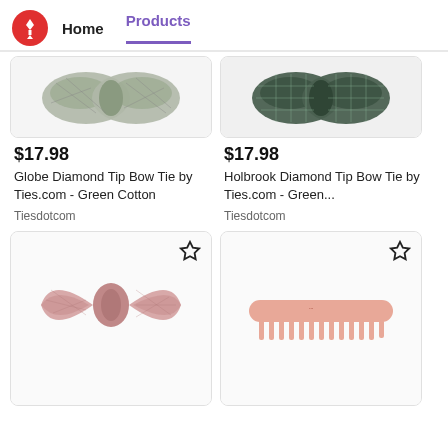Home  Products
[Figure (photo): Cropped top portion of a grey/green plaid diamond tip bow tie product card]
[Figure (photo): Cropped top portion of a dark green grid-pattern diamond tip bow tie product card]
$17.98
Globe Diamond Tip Bow Tie by Ties.com - Green Cotton
Tiesdotcom
$17.98
Holbrook Diamond Tip Bow Tie by Ties.com - Green...
Tiesdotcom
[Figure (photo): Pink/dusty rose diamond tip bow tie on white background]
[Figure (photo): Peach/salmon colored hair comb on white background]